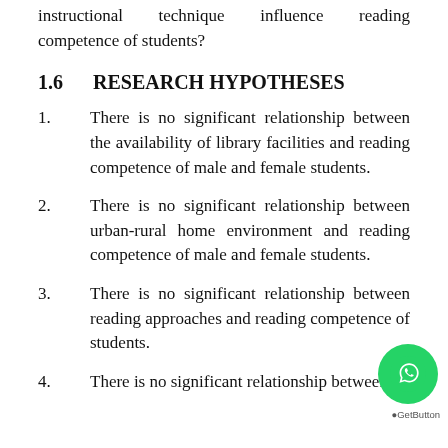instructional technique influence reading competence of students?
1.6    RESEARCH HYPOTHESES
1.        There is no significant relationship between the availability of library facilities and reading competence of male and female students.
2.        There is no significant relationship between urban-rural home environment and reading competence of male and female students.
3.        There is no significant relationship between reading approaches and reading competence of students.
4.        There is no significant relationship between